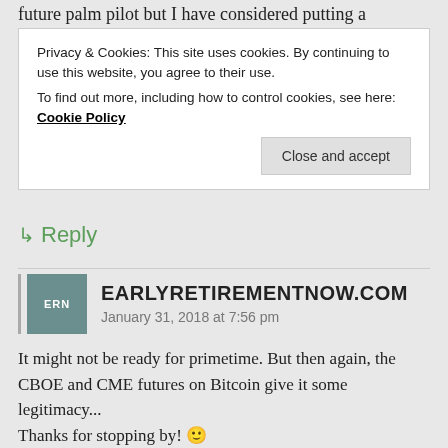future palm pilot but I have considered putting a
Privacy & Cookies: This site uses cookies. By continuing to use this website, you agree to their use.
To find out more, including how to control cookies, see here: Cookie Policy
Close and accept
↳ Reply
EARLYRETIREMENTNOW.COM
January 31, 2018 at 7:56 pm
It might not be ready for primetime. But then again, the CBOE and CME futures on Bitcoin give it some legitimacy...
Thanks for stopping by! 🙂
Liked by 1 person